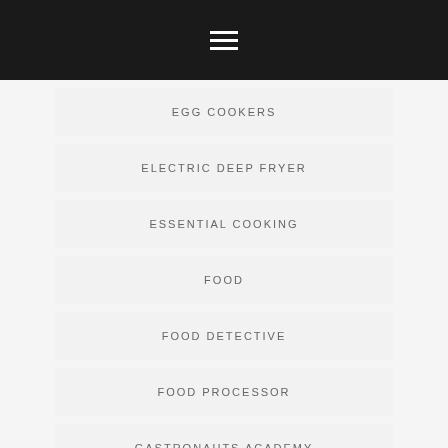☰ hamburger menu icon
EGG COOKERS
ELECTRIC DEEP FRYER
ESSENTIAL COOKING
FOOD
FOOD DETECTIVE
FOOD PROCESSOR
GASTRONAUTS ACADEMY
HACKS
ICE CREAM MACHINE RECIPES